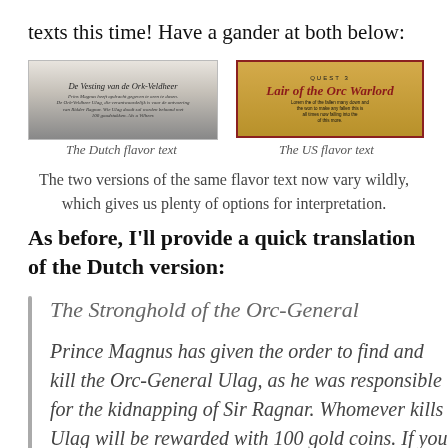texts this time! Have a gander at both below:
[Figure (photo): Two side-by-side screenshots: left is the Dutch flavor text card titled 'De Vesting van de Ork-Veldheer' in black and white; right is the US flavor text card titled 'Lair of the Orc Warlord' in gold and red.]
The Dutch flavor text / The US flavor text
The two versions of the same flavor text now vary wildly, which gives us plenty of options for interpretation.
As before, I'll provide a quick translation of the Dutch version:
The Stronghold of the Orc-General

Prince Magnus has given the order to find and kill the Orc-General Ulag, as he was responsible for the kidnapping of Sir Ragnar. Whomever kills Ulag will be rewarded with 100 gold coins. If you